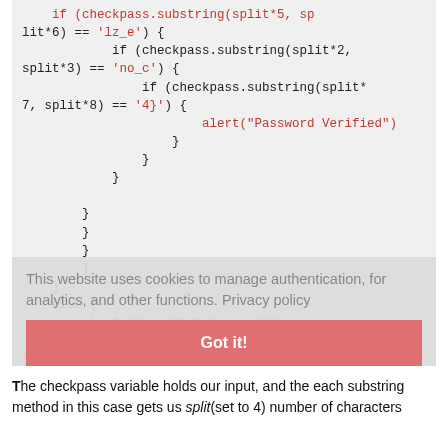[Figure (screenshot): Code block showing JavaScript nested if-else with substring checks, overlaid by a cookie consent banner with 'Got it!' button]
The checkpass variable holds our input, and the each substring method in this case gets us split(set to 4) number of characters